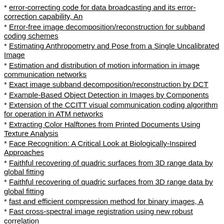error-correcting code for data broadcasting and its error-correction capability, An
Error-free image decomposition/reconstruction for subband coding schemes
Estimating Anthropometry and Pose from a Single Uncalibrated Image
Estimation and distribution of motion information in image communication networks
Exact image subband decomposition/reconstruction by DCT
Example-Based Object Detection in Images by Components
Extension of the CCITT visual communication coding algorithm for operation in ATM networks
Extracting Color Halftones from Printed Documents Using Texture Analysis
Face Recognition: A Critical Look at Biologically-Inspired Approaches
Faithful recovering of quadric surfaces from 3D range data by global fitting
Faithful recovering of quadric surfaces from 3D range data by global fitting
fast and efficient compression method for binary images, A
Fast cross-spectral image registration using new robust correlation